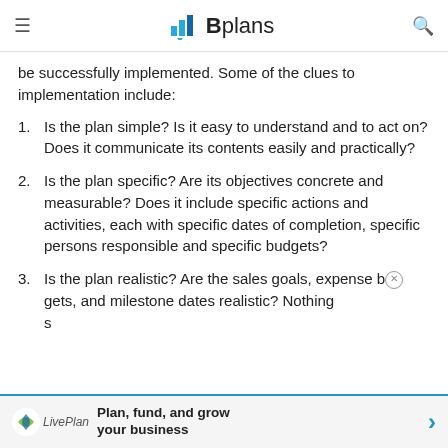Bplans
be successfully implemented. Some of the clues to implementation include:
Is the plan simple? Is it easy to understand and to act on? Does it communicate its contents easily and practically?
Is the plan specific? Are its objectives concrete and measurable? Does it include specific actions and activities, each with specific dates of completion, specific persons responsible and specific budgets?
Is the plan realistic? Are the sales goals, expense budgets, and milestone dates realistic? Nothing s
Is the plan complete? Does it include all the
Plan, fund, and grow your business